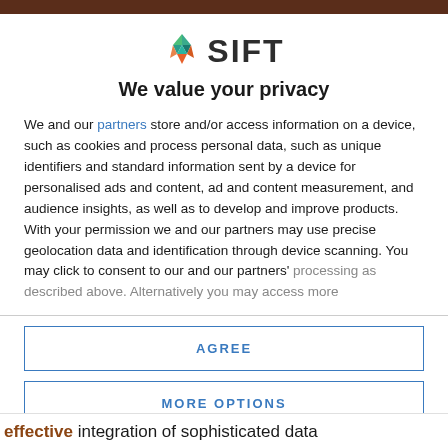[Figure (logo): SIFT logo with geometric diamond shape in green, teal, orange colors, followed by bold text SIFT]
We value your privacy
We and our partners store and/or access information on a device, such as cookies and process personal data, such as unique identifiers and standard information sent by a device for personalised ads and content, ad and content measurement, and audience insights, as well as to develop and improve products. With your permission we and our partners may use precise geolocation data and identification through device scanning. You may click to consent to our and our partners' processing as described above. Alternatively you may access more
AGREE
MORE OPTIONS
effective integration of sophisticated data